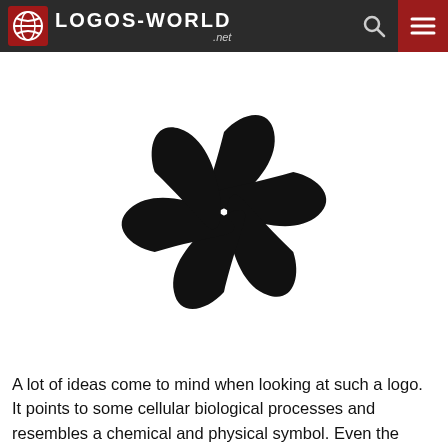LOGOS-WORLD .net
[Figure (logo): Rotating flower-like symbol with 6 curved black petal/blade shapes arranged in a spinning pinwheel pattern, with white space in the center, rendered in solid black on white background.]
A lot of ideas come to mind when looking at such a logo. It points to some cellular biological processes and resembles a chemical and physical symbol. Even the astrological meaning is visible – a star with several ends, rounded inward. Looking